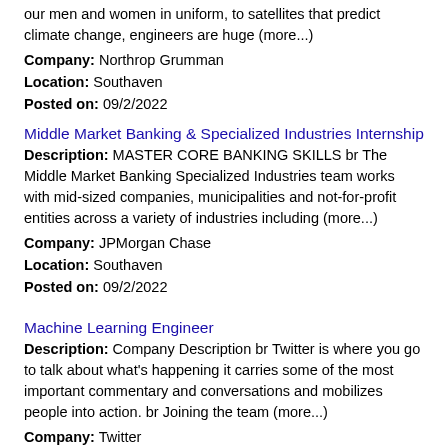our men and women in uniform, to satellites that predict climate change, engineers are huge (more...)
Company: Northrop Grumman
Location: Southaven
Posted on: 09/2/2022
Middle Market Banking & Specialized Industries Internship
Description: MASTER CORE BANKING SKILLS br The Middle Market Banking Specialized Industries team works with mid-sized companies, municipalities and not-for-profit entities across a variety of industries including (more...)
Company: JPMorgan Chase
Location: Southaven
Posted on: 09/2/2022
Machine Learning Engineer
Description: Company Description br Twitter is where you go to talk about what's happening it carries some of the most important commentary and conversations and mobilizes people into action. br Joining the team (more...)
Company: Twitter
Location: Southaven
Posted on: 09/2/2022